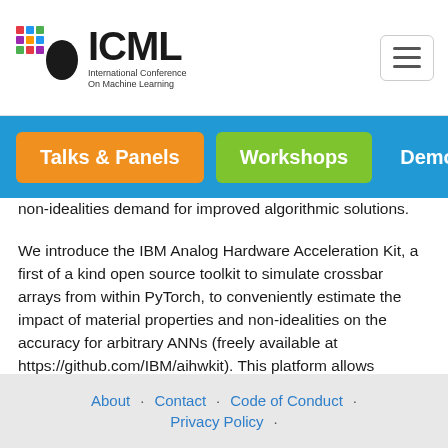ICML International Conference on Machine Learning
Talks & Panels | Workshops | Demos
non-idealities demand for improved algorithmic solutions.
We introduce the IBM Analog Hardware Acceleration Kit, a first of a kind open source toolkit to simulate crossbar arrays from within PyTorch, to conveniently estimate the impact of material properties and non-idealities on the accuracy for arbitrary ANNs (freely available at https://github.com/IBM/aihwkit). This platform allows understanding, evaluating, and experimenting with emerging analog AI accelerators. Our roadmap and capabilities include algorithmic innovations from IBM Research around hardware-aware training, mixed-precision training, advanced analog training optimizers using parallel rank-update in analog, and allowing
About · Contact · Code of Conduct · Privacy Policy ·